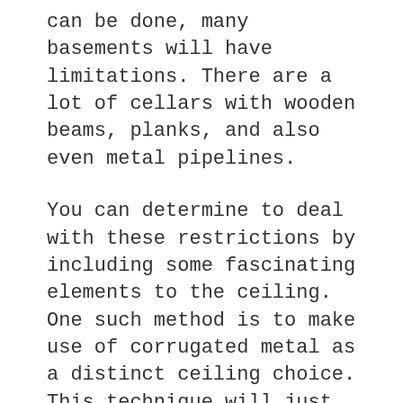can be done, many basements will have limitations. There are a lot of cellars with wooden beams, planks, and also even metal pipelines.
You can determine to deal with these restrictions by including some fascinating elements to the ceiling. One such method is to make use of corrugated metal as a distinct ceiling choice. This technique will just truly work effectively if you have wood beam of lights in your cellar. You can position the corrugated steel in between the beams to assist provide an interesting ceiling that everybody can enjoy.
This method won't really be difficult to accomplish and once you are finished, you'll be able to have a completely original type of basement ceiling. Anyone who comes to spend time with you in your